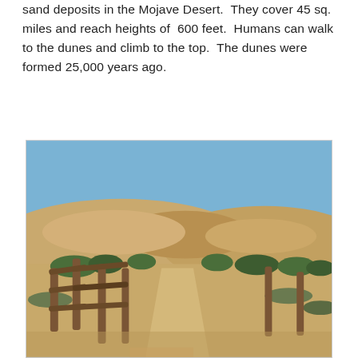sand deposits in the Mojave Desert.  They cover 45 sq. miles and reach heights of 600 feet.  Humans can walk to the dunes and climb to the top.  The dunes were formed 25,000 years ago.
[Figure (photo): A photograph showing a wooden split-rail fence in the foreground leading to a sandy path, desert scrub vegetation on both sides, and large sand dunes in the background under a clear blue sky — Mojave Desert dunes scene.]